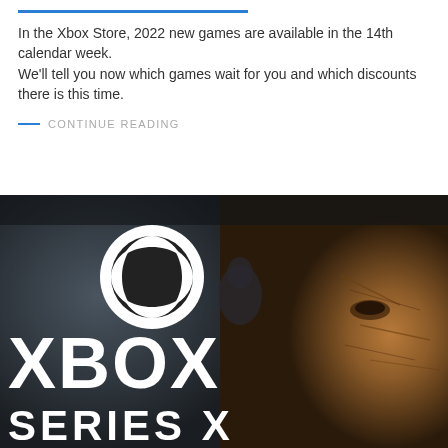In the Xbox Store, 2022 new games are available in the 14th calendar week.
We'll tell you now which games wait for you and which discounts there is this time.
— CONTINUE READING
[Figure (photo): Xbox Series X promotional image showing the Xbox ball logo in white, the text XBOX in large white letters, SERIES X below, with a cracked stone face visible on the right side, dark atmospheric background]